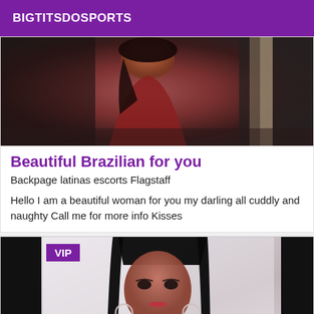BIGTITSDOSPORTS
[Figure (photo): Photo of a woman in a red outfit]
Beautiful Brazilian for you
Backpage latinas escorts Flagstaff
Hello I am a beautiful woman for you my darling all cuddly and naughty Call me for more info Kisses
[Figure (photo): Photo of a woman with long dark hair, with VIP badge overlay]